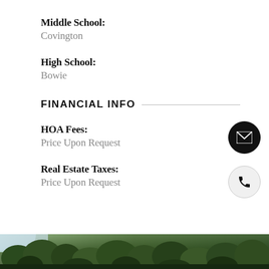Middle School: Covington
High School: Bowie
FINANCIAL INFO
HOA Fees: Price Upon Request
Real Estate Taxes: Price Upon Request
[Figure (photo): Outdoor photo of trees and greenery at the bottom of the page]